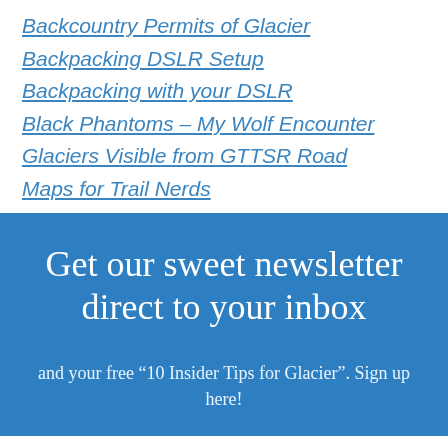Backcountry Permits of Glacier
Backpacking DSLR Setup
Backpacking with your DSLR
Black Phantoms – My Wolf Encounter
Glaciers Visible from GTTSR Road
Maps for Trail Nerds
Get our sweet newsletter direct to your inbox
and your free “10 Insider Tips for Glacier”. Sign up here!